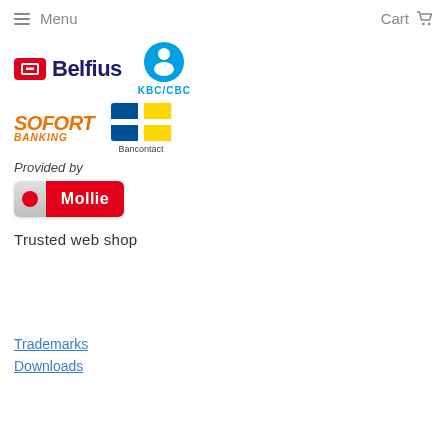Menu | Cart
[Figure (logo): Payment method logos: Belfius, KBC/CBC, SOFORT Banking, Bancontact, provided by Mollie]
Trusted web shop
Trademarks
Downloads